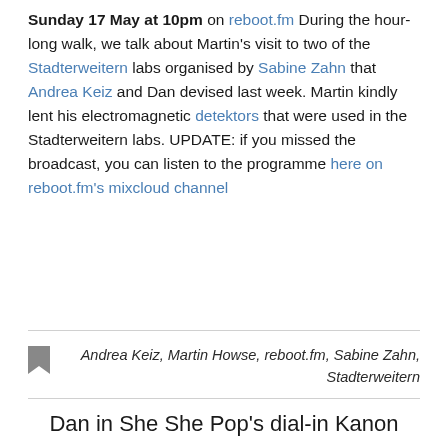Sunday 17 May at 10pm on reboot.fm During the hour-long walk, we talk about Martin's visit to two of the Stadterweitern labs organised by Sabine Zahn that Andrea Keiz and Dan devised last week. Martin kindly lent his electromagnetic detektors that were used in the Stadterweitern labs. UPDATE: if you missed the broadcast, you can listen to the programme here on reboot.fm's mixcloud channel
Andrea Keiz, Martin Howse, reboot.fm, Sabine Zahn, Stadterweitern
Dan in She She Pop's dial-in Kanon